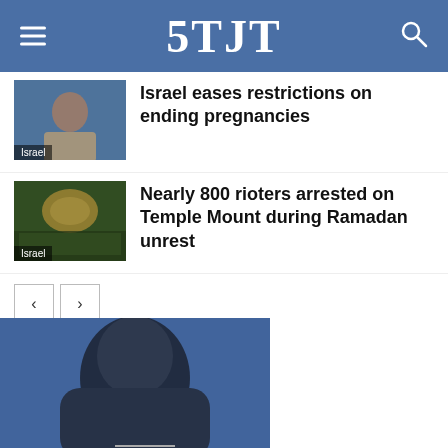5TJT
[Figure (photo): News thumbnail image with person and Israel label]
Israel eases restrictions on ending pregnancies
[Figure (photo): Crowd scene at Temple Mount / Dome of the Rock with Israel label]
Nearly 800 rioters arrested on Temple Mount during Ramadan unrest
[Figure (photo): Close-up of a person's face, partially visible, blue background]